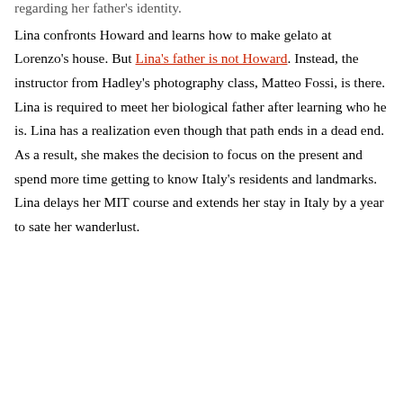regarding her father's identity.
Lina confronts Howard and learns how to make gelato at Lorenzo's house. But Lina's father is not Howard. Instead, the instructor from Hadley's photography class, Matteo Fossi, is there. Lina is required to meet her biological father after learning who he is. Lina has a realization even though that path ends in a dead end. As a result, she makes the decision to focus on the present and spend more time getting to know Italy's residents and landmarks. Lina delays her MIT course and extends her stay in Italy by a year to sate her wanderlust.